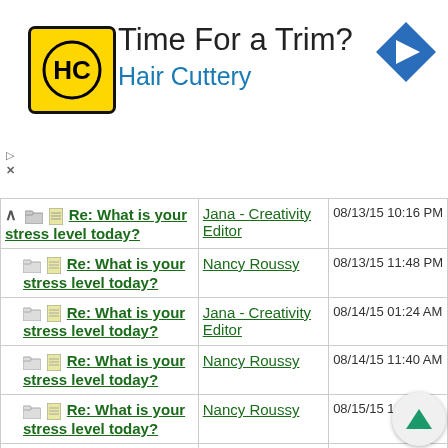[Figure (advertisement): Hair Cuttery advertisement banner with yellow logo featuring HC text, title 'Time For a Trim?' and subtitle 'Hair Cuttery', with blue navigation arrow icon on right]
| Subject | Author | Date |
| --- | --- | --- |
| Re: What is your stress level today? | Jana - Creativity Editor | 08/13/15 10:16 PM |
| Re: What is your stress level today? | Nancy Roussy | 08/13/15 11:48 PM |
| Re: What is your stress level today? | Jana - Creativity Editor | 08/14/15 01:24 AM |
| Re: What is your stress level today? | Nancy Roussy | 08/14/15 11:40 AM |
| Re: What is your stress level today? | Nancy Roussy | 08/15/15 11:51 AM |
| Re: What is your stress level today? | Nancy Roussy | 08/16/15 12:48 PM |